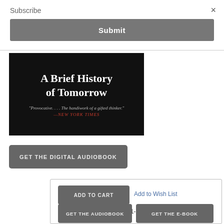×
Subscribe
Submit
[Figure (illustration): Book cover for 'A Brief History of Tomorrow' on black background. White serif title text reads 'A Brief History of Tomorrow'. Below in smaller text: '"Provocative.... The handiwork of a gifted thinker."' and in red italic: '—NEW YORK TIMES']
GET THE DIGITAL AUDIOBOOK
ADD TO CART
Add to Wish List
Usually Ships in 1-5 Days
GET THE AUDIOBOOK
GET THE E-BOOK